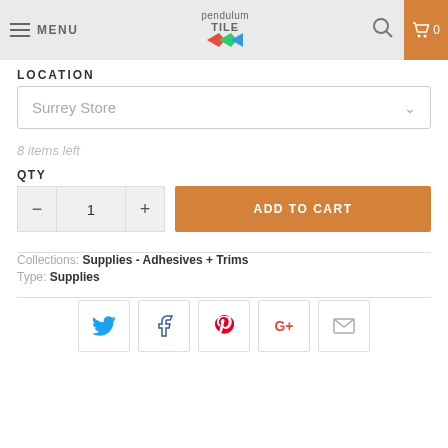MENU | Pendulum Tile | 0
LOCATION
Surrey Store
8 items left
QTY
1
ADD TO CART
Collections: Supplies - Adhesives + Trims
Type: Supplies
[Figure (screenshot): Social sharing buttons: Twitter, Facebook, Pinterest, Google+, Email]